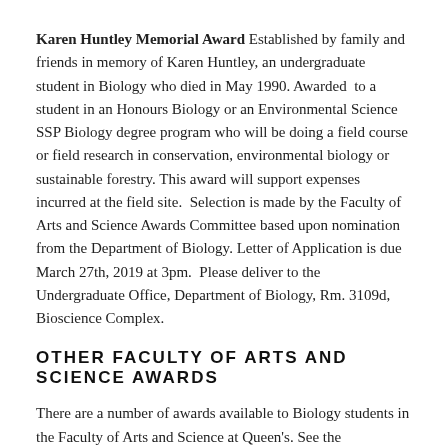Karen Huntley Memorial Award Established by family and friends in memory of Karen Huntley, an undergraduate student in Biology who died in May 1990. Awarded to a student in an Honours Biology or an Environmental Science SSP Biology degree program who will be doing a field course or field research in conservation, environmental biology or sustainable forestry. This award will support expenses incurred at the field site. Selection is made by the Faculty of Arts and Science Awards Committee based upon nomination from the Department of Biology. Letter of Application is due March 27th, 2019 at 3pm. Please deliver to the Undergraduate Office, Department of Biology, Rm. 3109d, Bioscience Complex.
OTHER FACULTY OF ARTS AND SCIENCE AWARDS
There are a number of awards available to Biology students in the Faculty of Arts and Science at Queen's. See the